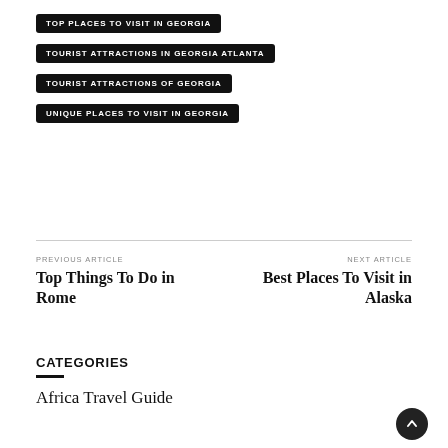TOP PLACES TO VISIT IN GEORGIA
TOURIST ATTRACTIONS IN GEORGIA ATLANTA
TOURIST ATTRACTIONS OF GEORGIA
UNIQUE PLACES TO VISIT IN GEORGIA
PREVIOUS ARTICLE
Top Things To Do in Rome
NEXT ARTICLE
Best Places To Visit in Alaska
CATEGORIES
Africa Travel Guide